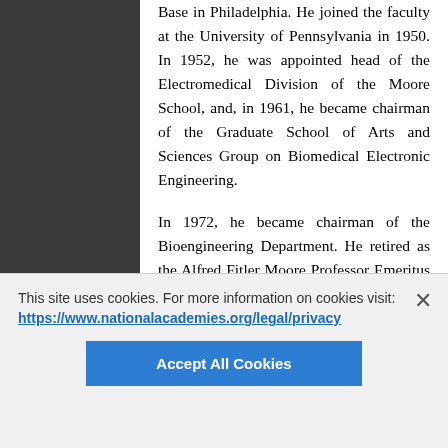Base in Philadelphia. He joined the faculty at the University of Pennsylvania in 1950. In 1952, he was appointed head of the Electromedical Division of the Moore School, and, in 1961, he became chairman of the Graduate School of Arts and Sciences Group on Biomedical Electronic Engineering.

In 1972, he became chairman of the Bioengineering Department. He retired as the Alfred Fitler Moore Professor Emeritus in 1983. Over the course of his long career, Schwan published more than 300 scientific papers, gave countless lectures, and received many honors. These
This site uses cookies. For more information on cookies visit: https://www.nationalacademies.org/legal/privacy
Accept All Cookies